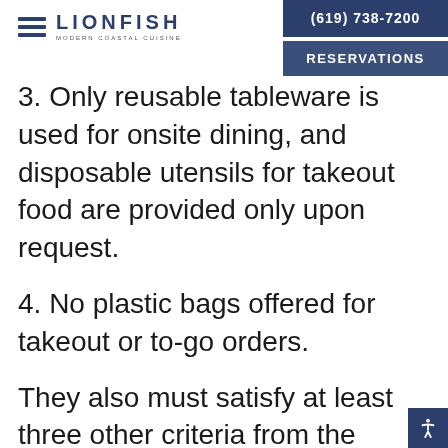LIONFISH MODERN COASTAL CUISINE | (619) 738-7200 | RESERVATIONS
3. Only reusable tableware is used for onsite dining, and disposable utensils for takeout food are provided only upon request.
4. No plastic bags offered for takeout or to-go orders.
They also must satisfy at least three other criteria from the second half of the list: